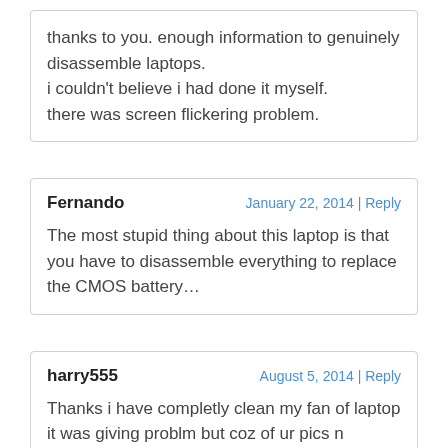thanks to you. enough information to genuinely disassemble laptops.
i couldn't believe i had done it myself.
there was screen flickering problem.
Fernando
January 22, 2014 | Reply
The most stupid thing about this laptop is that you have to disassemble everything to replace the CMOS battery…
harry555
August 5, 2014 | Reply
Thanks i have completly clean my fan of laptop it was giving problm but coz of ur pics n suggestion i have done it. its working fast now thanks for the